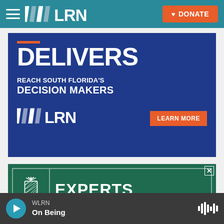WLRN — DONATE
[Figure (screenshot): WLRN advertisement banner: DELIVERS — REACH SOUTH FLORIDA'S DECISION MAKERS — LEARN MORE]
[Figure (screenshot): Green advertisement banner with pineapple logo and EXPERTS text]
WLRN — On Being